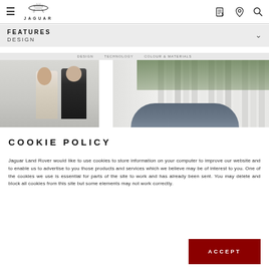Jaguar navigation bar with hamburger menu, Jaguar logo, and icons for finance, location, and search
FEATURES
DESIGN
[Figure (photo): Photo of two people (a woman and an older man with sunglasses) standing in front of a white architectural structure, with a Jaguar car partially visible and green trees in the background]
COOKIE POLICY
Jaguar Land Rover would like to use cookies to store information on your computer to improve our website and to enable us to advertise to you those products and services which we believe may be of interest to you. One of the cookies we use is essential for parts of the site to work and has already been sent. You may delete and block all cookies from this site but some elements may not work correctly.
ACCEPT